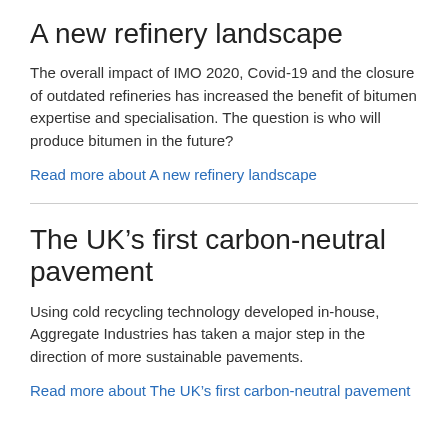A new refinery landscape
The overall impact of IMO 2020, Covid-19 and the closure of outdated refineries has increased the benefit of bitumen expertise and specialisation. The question is who will produce bitumen in the future?
Read more about A new refinery landscape
The UK’s first carbon-neutral pavement
Using cold recycling technology developed in-house, Aggregate Industries has taken a major step in the direction of more sustainable pavements.
Read more about The UK’s first carbon-neutral pavement